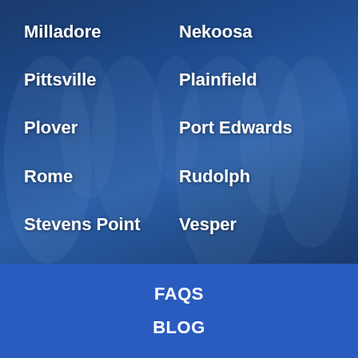Milladore
Nekoosa
Pittsville
Plainfield
Plover
Port Edwards
Rome
Rudolph
Stevens Point
Vesper
Whiting
Wisconsin Rapids
FAQS
BLOG